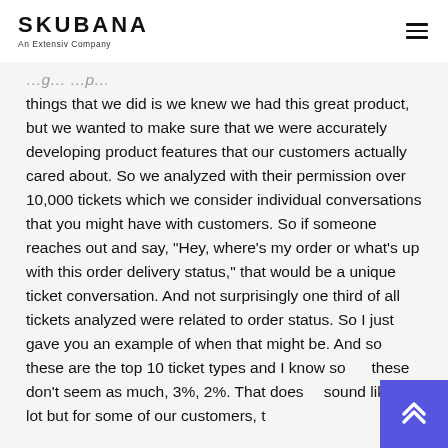SKUBANA — An Extensiv Company
things that we did is we knew we had this great product, but we wanted to make sure that we were accurately developing product features that our customers actually cared about. So we analyzed with their permission over 10,000 tickets which we consider individual conversations that you might have with customers. So if someone reaches out and say, "Hey, where's my order or what's up with this order delivery status," that would be a unique ticket conversation. And not surprisingly one third of all tickets analyzed were related to order status. So I just gave you an example of when that might be. And so these are the top 10 ticket types and I know some these don't seem as much, 3%, 2%. That doesn't sound like a lot but for some of our customers, t